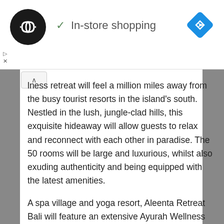[Figure (logo): Black circle logo with double arrow icon (infinite loop symbol) - app/service logo]
✓ In-store shopping
[Figure (illustration): Blue diamond navigation arrow icon in top right corner]
lness retreat will feel a million miles away from the busy tourist resorts in the island's south. Nestled in the lush, jungle-clad hills, this exquisite hideaway will allow guests to relax and reconnect with each other in paradise. The 50 rooms will be large and luxurious, whilst also exuding authenticity and being equipped with the latest amenities.
A spa village and yoga resort, Aleenta Retreat Bali will feature an extensive Ayurah Wellness centre, where guests can unwind with an array of soothing treatments, including traditional Balinese massages and natural therapies. An outdoor yoga area will overlook reflective ponds and a fitness centre will allow guests to enjoy an invigorating workout in paradise.